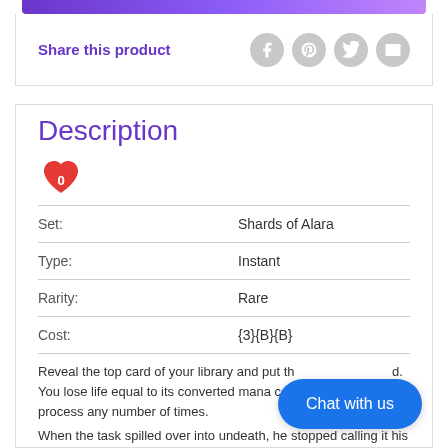[Figure (other): Purple gradient top bar]
Share this product
[Figure (other): Social share icons: Facebook, Pinterest, Twitter, Email]
Description
[Figure (other): Red heart icon with number 0]
| Field | Value |
| --- | --- |
| Set: | Shards of Alara |
| Type: | Instant |
| Rarity: | Rare |
| Cost: | {3}{B}{B} |
Reveal the top card of your library and put th... d. You lose life equal to its converted mana cos... process any number of times.
When the task spilled over into undeath, he stopped calling it his
[Figure (other): Chat with us button]